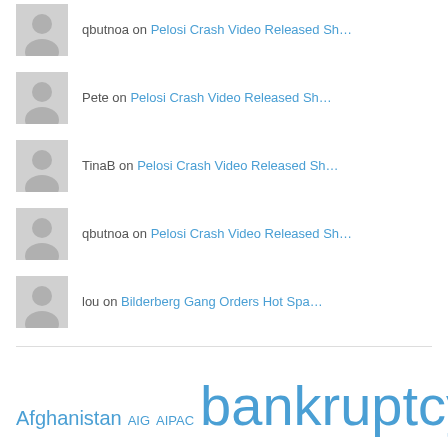qbutnoa on Pelosi Crash Video Released Sh…
Pete on Pelosi Crash Video Released Sh…
TinaB on Pelosi Crash Video Released Sh…
qbutnoa on Pelosi Crash Video Released Sh…
lou on Bilderberg Gang Orders Hot Spa…
Afghanistan AIG AIPAC bankruptcy Bilderberg Bilderberg gang blizzards Bush California China CIA Clinton Congress